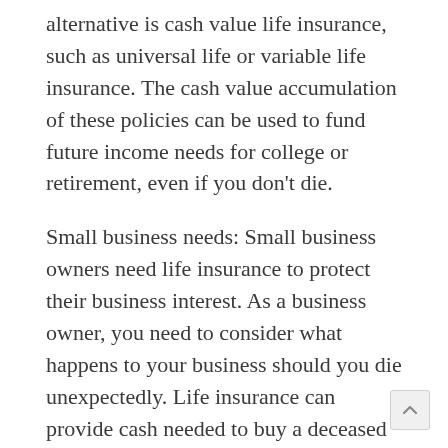alternative is cash value life insurance, such as universal life or variable life insurance. The cash value accumulation of these policies can be used to fund future income needs for college or retirement, even if you don't die.
Small business needs: Small business owners need life insurance to protect their business interest. As a business owner, you need to consider what happens to your business should you die unexpectedly. Life insurance can provide cash needed to buy a deceased partner's or shareholder's interest from his or her estate. Life insurance can also be used to compensate for unexpected death of a key employee.